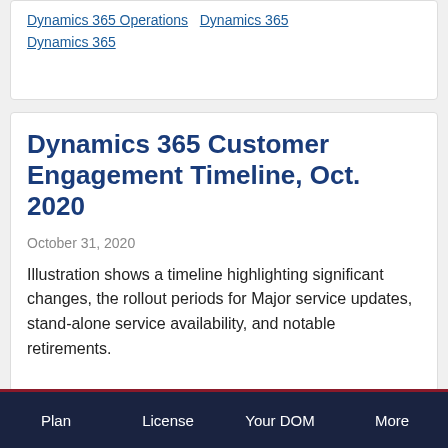Dynamics 365 Operations   Dynamics 365
Dynamics 365
Dynamics 365 Customer Engagement Timeline, Oct. 2020
October 31, 2020
Illustration shows a timeline highlighting significant changes, the rollout periods for Major service updates, stand-alone service availability, and notable retirements.
Plan   License   Your DOM   More